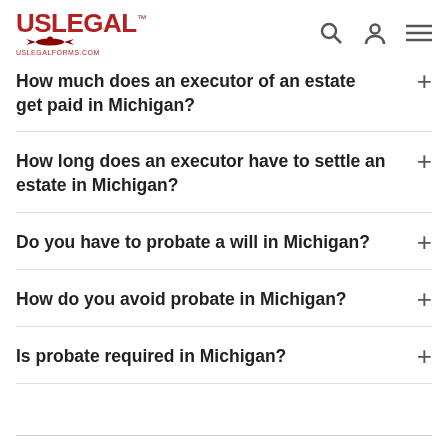USLegal™ uslegalforms.com
How much does an executor of an estate get paid in Michigan?
How long does an executor have to settle an estate in Michigan?
Do you have to probate a will in Michigan?
How do you avoid probate in Michigan?
Is probate required in Michigan?